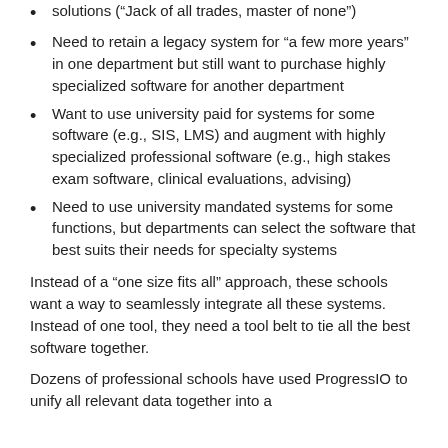solutions (“Jack of all trades, master of none”)
Need to retain a legacy system for “a few more years” in one department but still want to purchase highly specialized software for another department
Want to use university paid for systems for some software (e.g., SIS, LMS) and augment with highly specialized professional software (e.g., high stakes exam software, clinical evaluations, advising)
Need to use university mandated systems for some functions, but departments can select the software that best suits their needs for specialty systems
Instead of a “one size fits all” approach, these schools want a way to seamlessly integrate all these systems. Instead of one tool, they need a tool belt to tie all the best software together.
Dozens of professional schools have used ProgressIO to unify all relevant data together into a